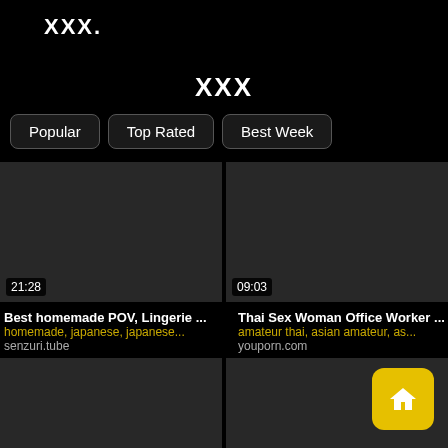XXX.
XXX
Popular
Top Rated
Best Week
[Figure (screenshot): Video thumbnail placeholder dark grey, duration 21:28]
Best homemade POV, Lingerie ...
homemade, japanese, japanese...
senzuri.tube
[Figure (screenshot): Video thumbnail placeholder dark grey, duration 09:03]
Thai Sex Woman Office Worker ...
amateur thai, asian amateur, as...
youporn.com
[Figure (screenshot): Video thumbnail placeholder dark grey, bottom row left]
[Figure (screenshot): Video thumbnail placeholder dark grey, bottom row right]